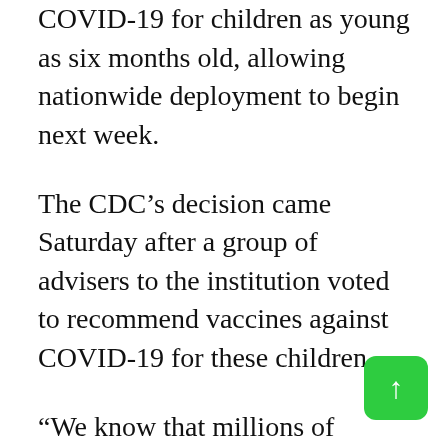COVID-19 for children as young as six months old, allowing nationwide deployment to begin next week.
The CDC's decision came Saturday after a group of advisers to the institution voted to recommend vaccines against COVID-19 for these children.
“We know that millions of parents and caregivers are eager to vaccinate their young children, and with today’s decision, they can,” said Rochelle Valenski, director of the CDC, in a statement.
The US Food and Drug Administration on Friday approved the Moderna Inc vaccine for children aged six months to five years and the Pfizer-BioNTech vaccine for children aged six months to four years. The Pfizer vaccine is approved for